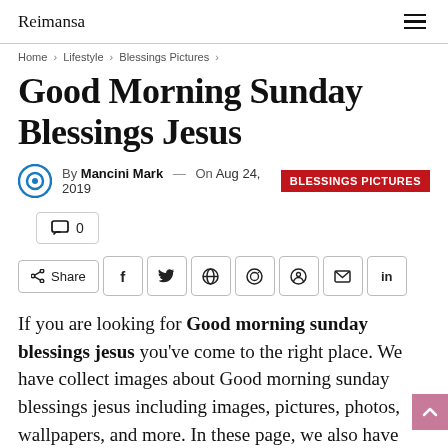Reimansa
Home > Lifestyle > Blessings Pictures >
Good Morning Sunday Blessings Jesus
By Mancini Mark — On Aug 24, 2019  BLESSINGS PICTURES
💬 0
Share  f  t  reddit  whatsapp  pinterest  email  in
If you are looking for Good morning sunday blessings jesus you've come to the right place. We have collect images about Good morning sunday blessings jesus including images, pictures, photos, wallpapers, and more. In these page, we also have